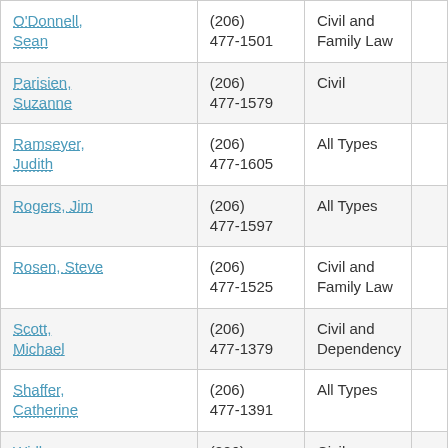| O'Donnell, Sean | (206) 477-1501 | Civil and Family Law |  |
| Parisien, Suzanne | (206) 477-1579 | Civil |  |
| Ramseyer, Judith | (206) 477-1605 | All Types |  |
| Rogers, Jim | (206) 477-1597 | All Types |  |
| Rosen, Steve | (206) 477-1525 | Civil and Family Law |  |
| Scott, Michael | (206) 477-1379 | Civil and Dependency |  |
| Shaffer, Catherine | (206) 477-1391 | All Types |  |
| Widlan, Sandra | (206) 477-1647 | Civil |  |